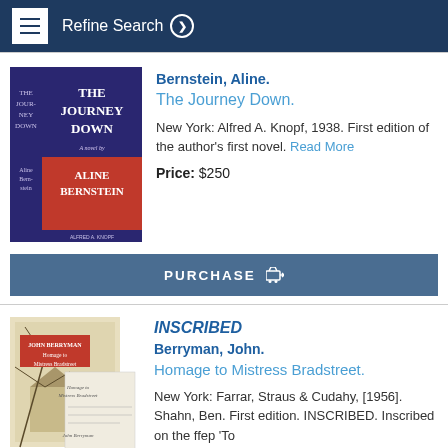Refine Search
[Figure (photo): Book cover of 'The Journey Down' by Aline Bernstein, published by Alfred A. Knopf. Dark blue spine on left, red/blue cover on right.]
Bernstein, Aline.
The Journey Down.
New York: Alfred A. Knopf, 1938. First edition of the author's first novel. Read More
Price: $250
PURCHASE
[Figure (photo): Book cover of 'Homage to Mistress Bradstreet' illustrated by Ben Shahn, with an abstract drawing of a house and trees. An inscribed letter is visible in front.]
INSCRIBED
Berryman, John.
Homage to Mistress Bradstreet.
New York: Farrar, Straus & Cudahy, [1956]. Shahn, Ben. First edition. INSCRIBED. Inscribed on the ffep 'To